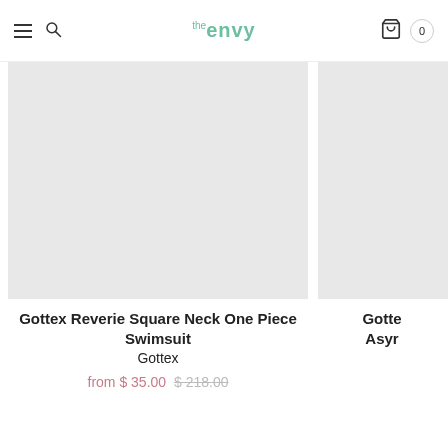the envy — navigation header with hamburger menu, search icon, logo, cart icon, and cart count 0
[Figure (photo): Product image placeholder (light gray) for Gottex Reverie Square Neck One Piece Swimsuit]
Gottex Reverie Square Neck One Piece Swimsuit
Gottex
from $ 35.00 $ 218.00
[Figure (photo): Partial product image placeholder (light gray) for second Gottex product (Asymmetric)]